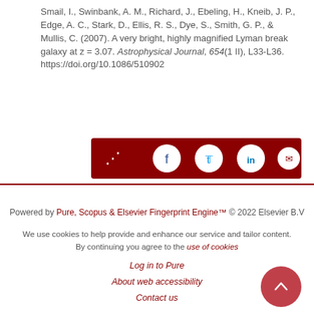Smail, I., Swinbank, A. M., Richard, J., Ebeling, H., Kneib, J. P., Edge, A. C., Stark, D., Ellis, R. S., Dye, S., Smith, G. P., & Mullis, C. (2007). A very bright, highly magnified Lyman break galaxy at z = 3.07. Astrophysical Journal, 654(1 II), L33-L36. https://doi.org/10.1086/510902
[Figure (other): Social share buttons bar with dark red background: share icon, Facebook, Twitter, LinkedIn, Email circular icons]
Powered by Pure, Scopus & Elsevier Fingerprint Engine™ © 2022 Elsevier B.V
We use cookies to help provide and enhance our service and tailor content. By continuing you agree to the use of cookies
Log in to Pure
About web accessibility
Contact us